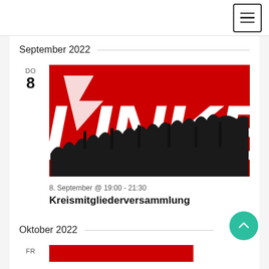navigation bar with hamburger menu
September 2022
DO
8
[Figure (photo): Crowd of people raising hands in front of a large red and white LINKE (Die Linke political party) banner/sign]
8. September @ 19:00 - 21:30
Kreismitgliederversammlung
Oktober 2022
FR